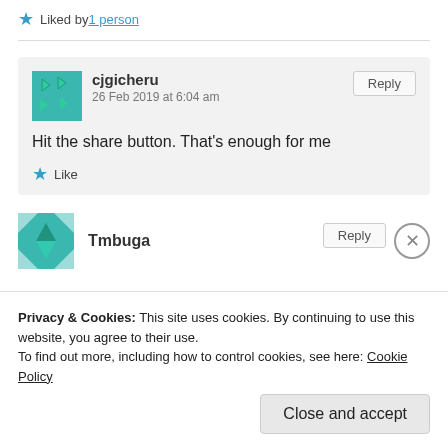★ Liked by 1 person
cjgicheru
26 Feb 2019 at 6:04 am
Hit the share button. That's enough for me
★ Like
Tmbuga
Privacy & Cookies: This site uses cookies. By continuing to use this website, you agree to their use.
To find out more, including how to control cookies, see here: Cookie Policy
Close and accept